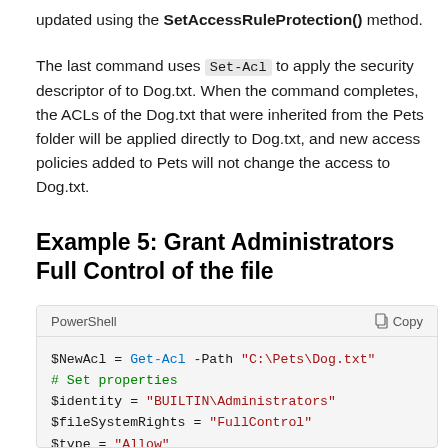updated using the SetAccessRuleProtection() method.
The last command uses Set-Acl to apply the security descriptor of to Dog.txt. When the command completes, the ACLs of the Dog.txt that were inherited from the Pets folder will be applied directly to Dog.txt, and new access policies added to Pets will not change the access to Dog.txt.
Example 5: Grant Administrators Full Control of the file
[Figure (screenshot): PowerShell code block showing: $NewAcl = Get-Acl -Path "C:\Pets\Dog.txt", # Set properties, $identity = "BUILTIN\Administrators", $fileSystemRights = "FullControl", $type = "Allow", # Create new rule, $fileSystemAccessRuleArgumentList = $identity, $]